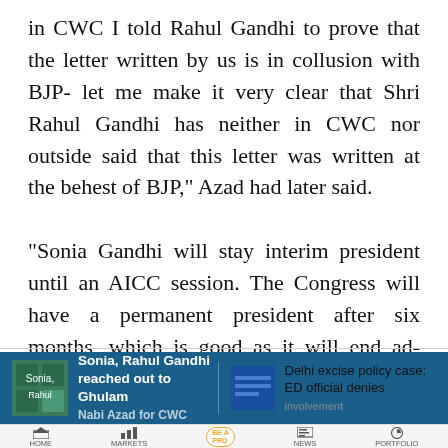in CWC I told Rahul Gandhi to prove that the letter written by us is in collusion with BJP- let me make it very clear that Shri Rahul Gandhi has neither in CWC nor outside said that this letter was written at the behest of BJP," Azad had later said.

"Sonia Gandhi will stay interim president until an AICC session. The Congress will have a permanent president after six months, which is good as it will end ad-hocism," Azad told NDTV after the meeting.
[Figure (screenshot): Bottom navigation bar showing two news article previews: 'Sonia, Rahul Gandhi reached out to Ghulam...' on blue background, and 'Delhi excise policy case: ED official denies...' with thumbnail. Below is app navigation with HOME, MARKETS, BE A PRO, NEWS, PORTFOLIO icons.]